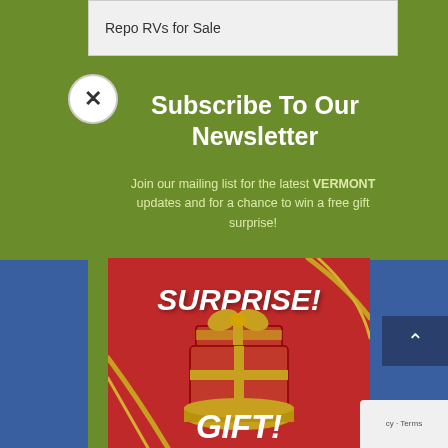Repo RVs for Sale
Subscribe To Our Newsletter
Join our mailing list for the latest VERMONT updates and for a chance to win a free gift surprise!
[Figure (illustration): Red gift box with gold ribbon open and 'SURPRISE! GIFT!' text on red background with gold ribbon decorations]